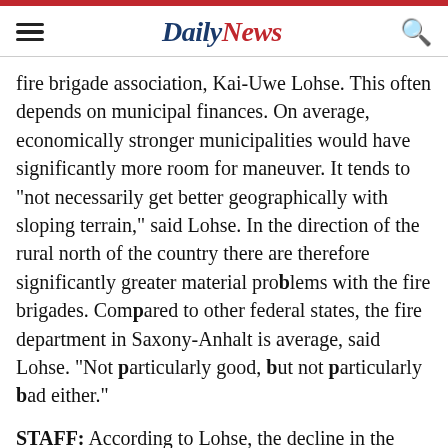Daily News
fire brigade association, Kai-Uwe Lohse. This often depends on municipal finances. On average, economically stronger municipalities would have significantly more room for maneuver. It tends to "not necessarily get better geographically with sloping terrain," said Lohse. In the direction of the rural north of the country there are therefore significantly greater material problems with the fire brigades. Compared to other federal states, the fire department in Saxony-Anhalt is average, said Lohse. "Not particularly good, but not particularly bad either."
STAFF: According to Lohse, the decline in the number of emergency services has slowed down in recent years. The municipalities had recognized the